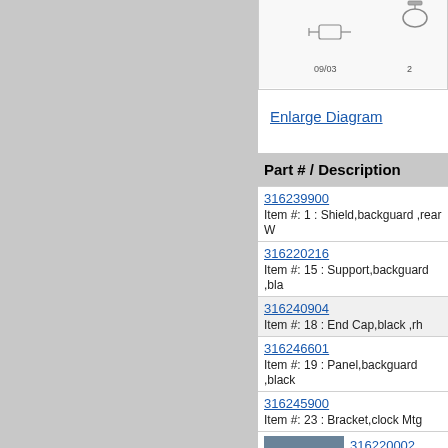[Figure (schematic): Partial appliance backguard diagram showing parts labeled 09/03 and 2, with component connectors visible]
Enlarge Diagram
Part # / Description
316239900
Item #: 1 : Shield,backguard ,rear W
316220216
Item #: 15 : Support,backguard ,bla
316240904
Item #: 18 : End Cap,black ,rh
316246601
Item #: 19 : Panel,backguard ,black
316245900
Item #: 23 : Bracket,clock Mtg
[Figure (photo): Photo of a black knob part]
316220002
Item #: 36 : Knob ,black ,(4)
316204912
Item #: 40 : Panel,manifold ,black